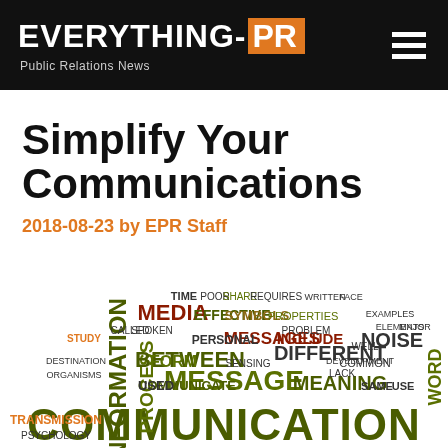EVERYTHING-PR — Public Relations News
Simplify Your Communications
2018-08-23 by EPR Staff
[Figure (illustration): Word cloud featuring communication-related terms. The largest word in dark olive green reads COMMUNICATION at the bottom, with MESSAGE, INFORMATION, PROCESS, MEDIA, MEANING, DIFFERENT, NOISE, WORD, BETWEEN prominently displayed in various colors including dark green, olive, orange, dark red, and yellow-green. Smaller terms fill the background.]